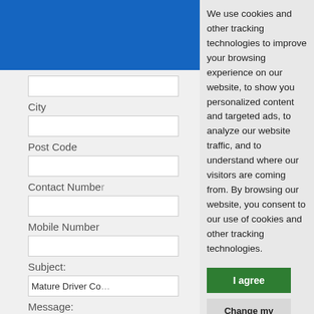[Figure (screenshot): Blue header bar on left panel of a web form]
City
Post Code
Contact Number
Mobile Number
Subject:
Mature Driver Co...
Message:
We use cookies and other tracking technologies to improve your browsing experience on our website, to show you personalized content and targeted ads, to analyze our website traffic, and to understand where our visitors are coming from. By browsing our website, you consent to our use of cookies and other tracking technologies.
I agree
Change my preferences